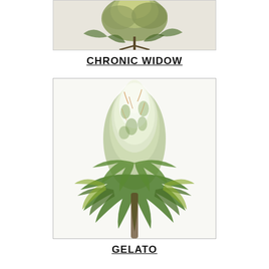[Figure (photo): Partial view of a cannabis plant bud from above, green and golden tones, cropped at top]
CHRONIC WIDOW
[Figure (photo): Close-up photo of a large frosted cannabis bud (Gelato strain) with green serrated leaves, white trichomes covering the bud, on white background]
GELATO